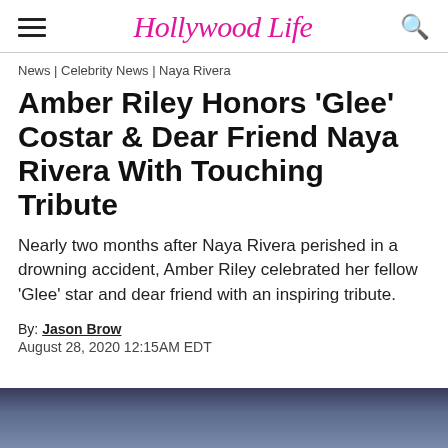Hollywood Life
News | Celebrity News | Naya Rivera
Amber Riley Honors 'Glee' Costar & Dear Friend Naya Rivera With Touching Tribute
Nearly two months after Naya Rivera perished in a drowning accident, Amber Riley celebrated her fellow 'Glee' star and dear friend with an inspiring tribute.
By: Jason Brow
August 28, 2020 12:15AM EDT
[Figure (photo): Photo strip at bottom of page, partially visible image of people]